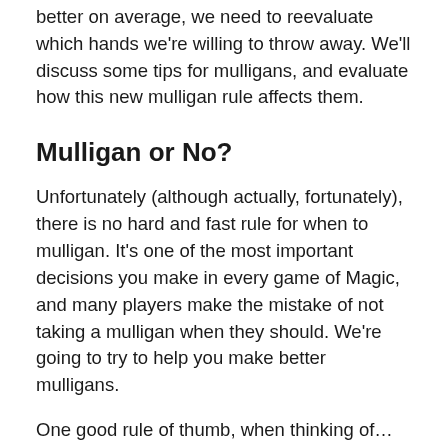better on average, we need to reevaluate which hands we're willing to throw away. We'll discuss some tips for mulligans, and evaluate how this new mulligan rule affects them.
Mulligan or No?
Unfortunately (although actually, fortunately), there is no hard and fast rule for when to mulligan. It's one of the most important decisions you make in every game of Magic, and many players make the mistake of not taking a mulligan when they should. We're going to try to help you make better mulligans.
One good rule of thumb, when thinking of…